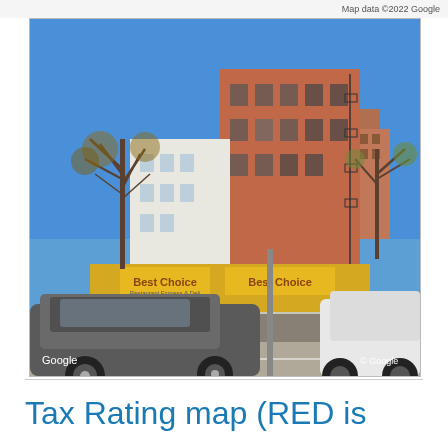Map data ©2022 Google
[Figure (photo): Google Street View photo of a commercial building with a 'Best Choice' restaurant/store at street level, a red/orange multi-story building behind it, trees without leaves, and cars parked in the foreground. Google and © Google watermarks visible.]
Tax Rating map (RED is